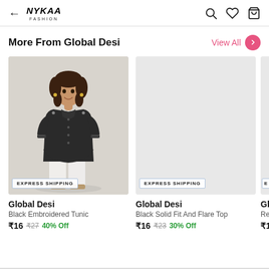Nykaa Fashion
More From Global Desi
[Figure (photo): Woman wearing black embroidered tunic with white pants, smiling, standing against grey background. EXPRESS SHIPPING badge at bottom.]
Global Desi
Black Embroidered Tunic
₹16 ₹27 40% Off
[Figure (photo): Light grey placeholder image for second product. EXPRESS SHIPPING badge at bottom.]
Global Desi
Black Solid Fit And Flare Top
₹16 ₹23 30% Off
[Figure (photo): Partial view of third product card, light grey placeholder.]
Gl
Re
₹1